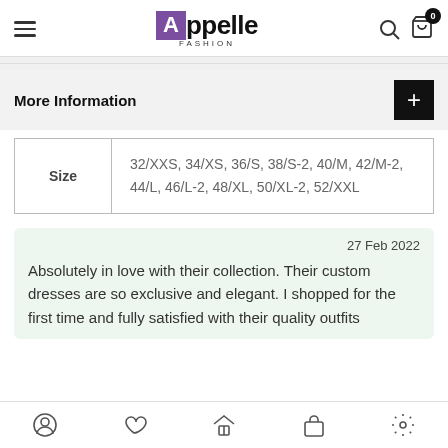Appelle FASHION
More Information
| Size |  |
| --- | --- |
| Size | 32/XXS, 34/XS, 36/S, 38/S-2, 40/M, 42/M-2, 44/L, 46/L-2, 48/XL, 50/XL-2, 52/XXL |
27 Feb 2022

Absolutely in love with their collection. Their custom dresses are so exclusive and elegant. I shopped for the first time and fully satisfied with their quality outfits
Navigation bar with icons: profile, heart, home, bag, settings